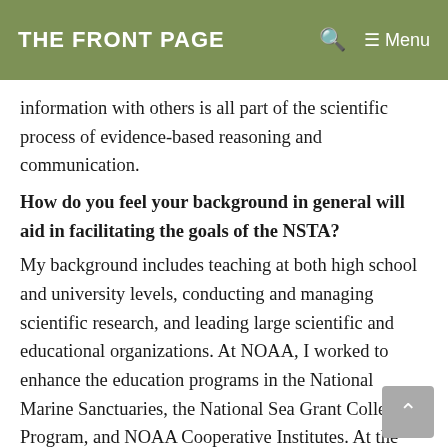THE FRONT PAGE
information with others is all part of the scientific process of evidence-based reasoning and communication.
How do you feel your background in general will aid in facilitating the goals of the NSTA?
My background includes teaching at both high school and university levels, conducting and managing scientific research, and leading large scientific and educational organizations. At NOAA, I worked to enhance the education programs in the National Marine Sanctuaries, the National Sea Grant College Program, and NOAA Cooperative Institutes. At the Smithsonian, I worked to develop the National Science Resource Center and to emphasize the importance of the public understanding of science in the museums and zoo. My